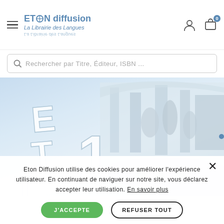[Figure (logo): ETON diffusion logo with globe icon and subtitle La Librairie des Langues, mirrored text below]
Rechercher par Titre, Éditeur, ISBN ...
[Figure (photo): Book cover showing Italian text ETTO ITA with number 1 against a backdrop of the Trevi Fountain in Rome]
Eton Diffusion utilise des cookies pour améliorer l'expérience utilisateur. En continuant de naviguer sur notre site, vous déclarez accepter leur utilisation. En savoir plus
J'ACCEPTE
REFUSER TOUT